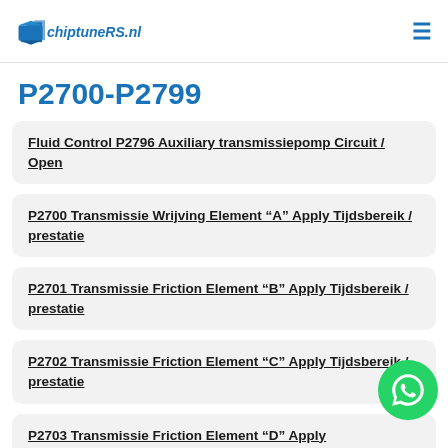chiptuneRS.nl
P2700-P2799
Fluid Control P2796 Auxiliary transmissiepomp Circuit / Open
P2700 Transmissie Wrijving Element “A” Apply Tijdsbereik / prestatie
P2701 Transmissie Friction Element “B” Apply Tijdsbereik / prestatie
P2702 Transmissie Friction Element “C” Apply Tijdsbereik / prestatie
P2703 Transmissie Friction Element “D” Apply Tijdsbereik / prestatie